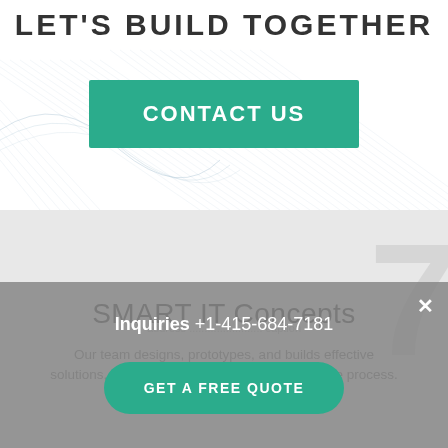LET'S BUILD TOGETHER
CONTACT US
SMART IT Concepts
Our team designs, prototypes, and builds effective solutions, elegantly delivered through an iterative process.
Inquiries +1-415-684-7181
GET A FREE QUOTE